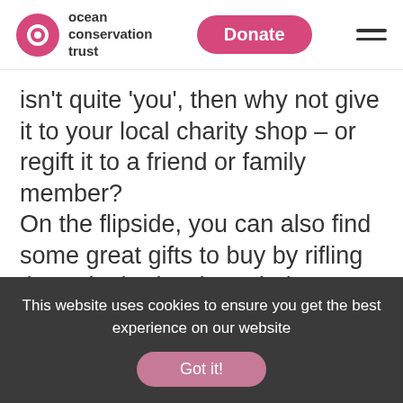[Figure (logo): Ocean Conservation Trust logo with pink circle and text]
isn't quite 'you', then why not give it to your local charity shop – or regift it to a friend or family member?
On the flipside, you can also find some great gifts to buy by rifling through charity shop shelves at this time of year. Also consider
This website uses cookies to ensure you get the best experience on our website
Got it!